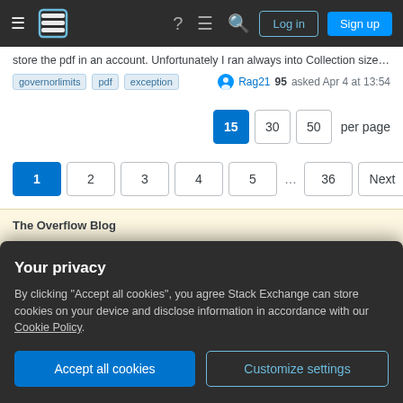Stack Exchange navigation bar with Log in and Sign up buttons
store the pdf in an account. Unfortunately I ran always into Collection size 1.079…
governorlimits pdf exception — Rag21 95 asked Apr 4 at 13:54
15 30 50 per page
1 2 3 4 5 … 36 Next
The Overflow Blog
Your privacy
By clicking "Accept all cookies", you agree Stack Exchange can store cookies on your device and disclose information in accordance with our Cookie Policy.
Accept all cookies   Customize settings